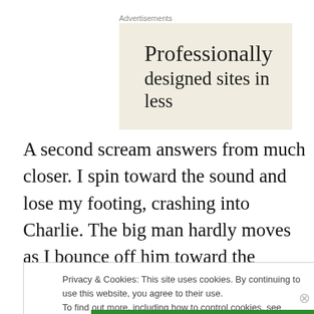Advertisements
[Figure (screenshot): Advertisement banner with text 'Professionally designed sites in less' on a light beige background]
A second scream answers from much closer. I spin toward the sound and lose my footing, crashing into Charlie. The big man hardly moves as I bounce off him toward the ground. I can't even feel the impact. The adrenaline
Privacy & Cookies: This site uses cookies. By continuing to use this website, you agree to their use.
To find out more, including how to control cookies, see here: Cookie Policy
Close and accept